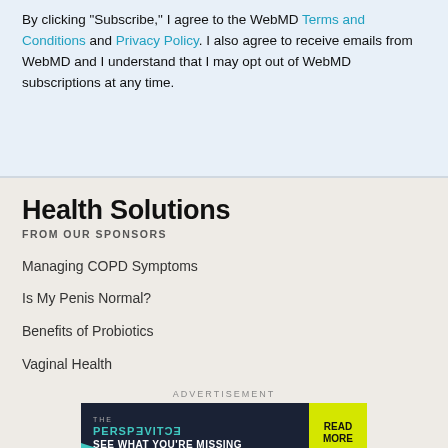By clicking "Subscribe," I agree to the WebMD Terms and Conditions and Privacy Policy. I also agree to receive emails from WebMD and I understand that I may opt out of WebMD subscriptions at any time.
Health Solutions
FROM OUR SPONSORS
Managing COPD Symptoms
Is My Penis Normal?
Benefits of Probiotics
Vaginal Health
[Figure (other): Advertisement banner for 'The Perspective' with teal and dark background, text 'SEE WHAT YOU'RE MISSING' and yellow 'READ MORE' button]